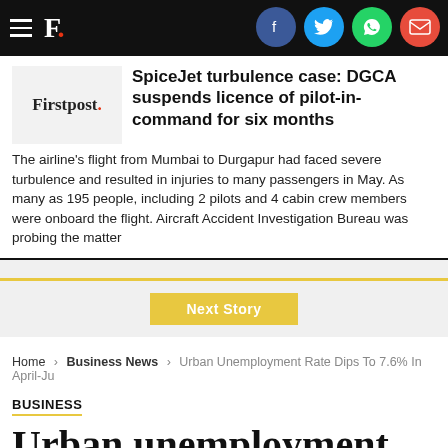Firstpost. [navigation bar with social icons: Facebook, Twitter, WhatsApp, Email]
SpiceJet turbulence case: DGCA suspends licence of pilot-in-command for six months
The airline's flight from Mumbai to Durgapur had faced severe turbulence and resulted in injuries to many passengers in May. As many as 195 people, including 2 pilots and 4 cabin crew members were onboard the flight. Aircraft Accident Investigation Bureau was probing the matter
Next Story
Home > Business News > Urban Unemployment Rate Dips To 7.6% In April-Ju
BUSINESS
Urban unemployment rate